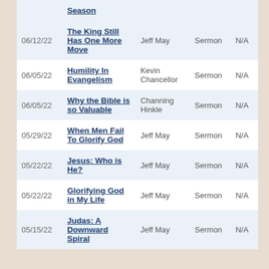| Date | Title | Speaker | Type |  |
| --- | --- | --- | --- | --- |
| 06/12/22 | The King Still Has One More Move | Jeff May | Sermon | N/A |
| 06/05/22 | Humility In Evangelism | Kevin Chancellor | Sermon | N/A |
| 06/05/22 | Why the Bible is so Valuable | Channing Hinkle | Sermon | N/A |
| 05/29/22 | When Men Fail To Glorify God | Jeff May | Sermon | N/A |
| 05/22/22 | Jesus: Who is He? | Jeff May | Sermon | N/A |
| 05/22/22 | Glorifying God in My Life | Jeff May | Sermon | N/A |
| 05/15/22 | Judas: A Downward Spiral | Jeff May | Sermon | N/A |